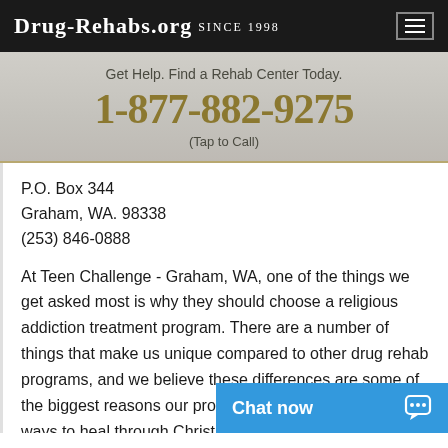Drug-Rehabs.org Since 1998
Get Help. Find a Rehab Center Today.
1-877-882-9275
(Tap to Call)
P.O. Box 344
Graham, WA. 98338
(253) 846-0888
At Teen Challenge - Graham, WA, one of the things we get asked most is why they should choose a religious addiction treatment program. There are a number of things that make us unique compared to other drug rehab programs, and we believe these differences are some of the biggest reasons our program works so well. We find ways to heal through Christ that other addiction treatment programs cannot offer.